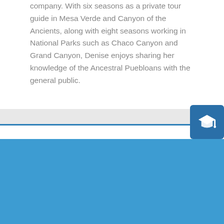company. With six seasons as a private tour guide in Mesa Verde and Canyon of the Ancients, along with eight seasons working in National Parks such as Chaco Canyon and Grand Canyon, Denise enjoys sharing her knowledge of the Ancestral Puebloans with the general public.
[Figure (illustration): Graduation mortarboard icon button, blue square with white mortarboard hat icon]
[Figure (illustration): Social media icons (Facebook, Twitter, Instagram) in circles, partially visible, low opacity on blue background]
This website uses cookies to ensure you get the best experience on our website.
Got it
Library Hours
Monday-Friday: 8:30am-6:30pm
Saturday: 10am-5pm